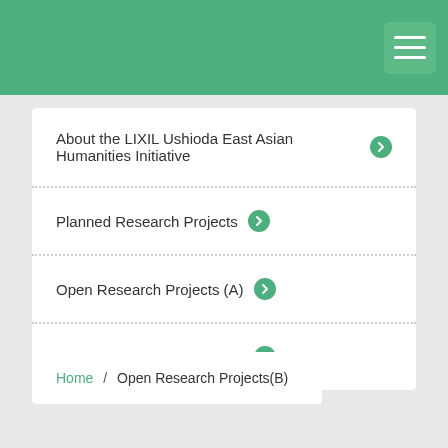About the LIXIL Ushioda East Asian Humanities Initiative
Planned Research Projects
Open Research Projects (A)
Open Research Projects (B)
Home / Open Research Projects(B)